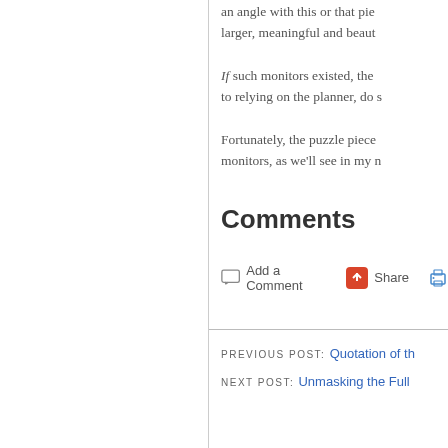an angle with this or that piece... larger, meaningful and beautiful...
If such monitors existed, the... to relying on the planner, do s...
Fortunately, the puzzle piece... monitors, as we'll see in my n...
Comments
Add a Comment  Share
PREVIOUS POST: Quotation of th...
NEXT POST: Unmasking the Full...